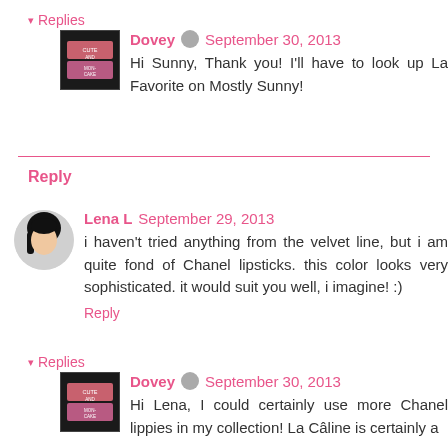▾ Replies
Dovey · September 30, 2013
Hi Sunny, Thank you! I'll have to look up La Favorite on Mostly Sunny!
Reply
Lena L  September 29, 2013
i haven't tried anything from the velvet line, but i am quite fond of Chanel lipsticks. this color looks very sophisticated. it would suit you well, i imagine! :)
Reply
▾ Replies
Dovey · September 30, 2013
Hi Lena, I could certainly use more Chanel lippies in my collection! La Câline is certainly a